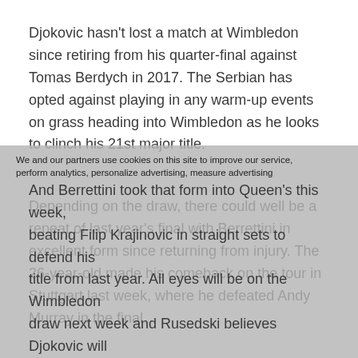Djokovic hasn't lost a match at Wimbledon since retiring from his quarter-final against Tomas Berdych in 2017. The Serbian has opted against playing in any warm-up events on grass heading into Wimbledon as he looks to clinch his 21st major title.
Depending on the draw, there could well be a repeat of last year's final with Berrettini in excellent form since returning from injury. The 26-year-old made his comeback on the tour in Stuttgart last week, where he defeated Andy Murray in the final.
We and our partners use cookies on this site to improve our service, perform analytics, personalize advertising, measure advertising
And Berrettini took that form into Queen's this week, beating Filip Krajinovic in straight sets to defend his title from last year. All eyes will be on the Wimbledon draw next week and Rusedski believes Djokovic will